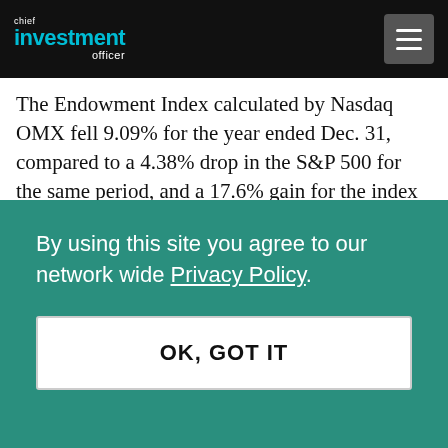chief investment officer
The Endowment Index calculated by Nasdaq OMX fell 9.09% for the year ended Dec. 31, compared to a 4.38% drop in the S&P 500 for the same period, and a 17.6% gain for the index in 2017. For the fourth quarter, the index tumbled 10.22%, compared to a 13.52% decline in the S&P 500.
The down year was attributed to the confluence of
By using this site you agree to our network wide Privacy Policy.
OK, GOT IT